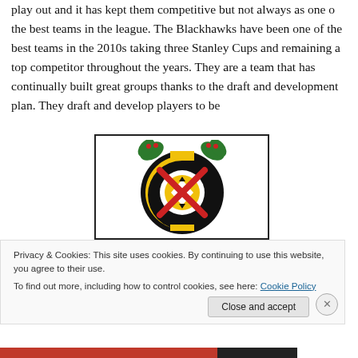play out and it has kept them competitive but not always as one o the best teams in the league. The Blackhawks have been one of the best teams in the 2010s taking three Stanley Cups and remaining a top competitor throughout the years. They are a team that has continually built great groups thanks to the draft and development plan. They draft and develop players to be
[Figure (logo): Chicago Blackhawks NHL team logo - circular design with yellow C letters, red X cross, green feathers/leaves, and black outline on white background]
Privacy & Cookies: This site uses cookies. By continuing to use this website, you agree to their use.
To find out more, including how to control cookies, see here: Cookie Policy